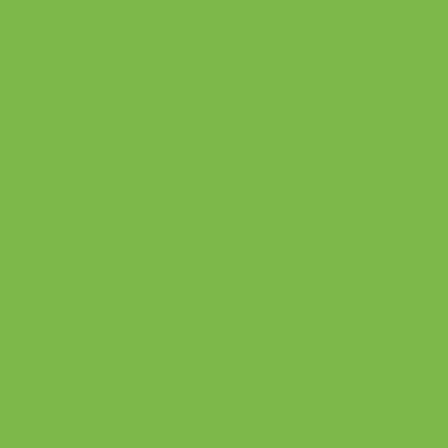[Figure (other): Green sidebar panel on the left side of the page]
all you need is the much chea The reason why not many are sufficient in cheap gas. Indeed, at current prices for t make an economic case for n New builds are more hopeful. best with air pumps can be sp In the UK, if a home goes fro around half on CO2 emission we get more renewables in th better still. An interesting case in point is to air pumps, and where they you bear in mind that most of you are talking about serious For real efficiency short of nu then some of the new Japan are interesting. In such a system you would p is used to generate electricity any shortfall provided by the
Posted by: DaveMart | December 2